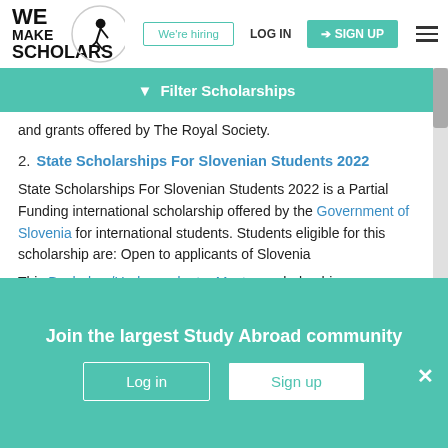We Make Scholars — We're hiring | LOG IN | SIGN UP
Filter Scholarships
and grants offered by The Royal Society.
2. State Scholarships For Slovenian Students 2022
State Scholarships For Slovenian Students 2022 is a Partial Funding international scholarship offered by the Government of Slovenia for international students. Students eligible for this scholarship are: Open to applicants of Slovenia
This Bachelors/Undergraduate, Masters scholarship
Join the largest Study Abroad community
Log in
Sign up